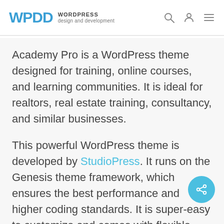WPDD WORDPRESS design and development
Academy Pro is a WordPress theme designed for training, online courses, and learning communities. It is ideal for realtors, real estate training, consultancy, and similar businesses.
This powerful WordPress theme is developed by StudioPress. It runs on the Genesis theme framework, which ensures the best performance and higher coding standards. It is super-easy to customize and comes with flexible header, drag and drop homepage layout, multiple page